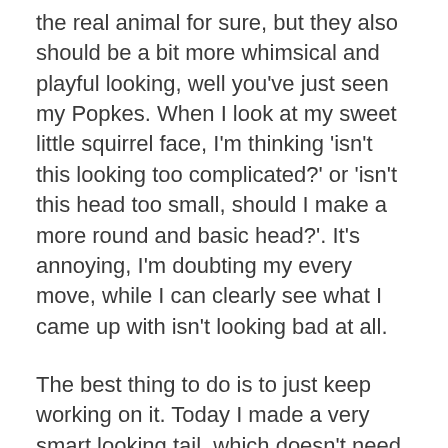the real animal for sure, but they also should be a bit more whimsical and playful looking, well you've just seen my Popkes. When I look at my sweet little squirrel face, I'm thinking 'isn't this looking too complicated?' or 'isn't this head too small, should I make a more round and basic head?'. It's annoying, I'm doubting my every move, while I can clearly see what I came up with isn't looking bad at all.
The best thing to do is to just keep working on it. Today I made a very smart looking tail, which doesn't need pipe cleaners in it to make it look bended. And the body I made has a very formidable looking light belly, so I suppose I am just being a bit too hard on myself. I will just continue working on this sweetie and assemble a prototype. When that is finished I can decide if I find this squirrel whimsical and characteristic enough and if anything needs to